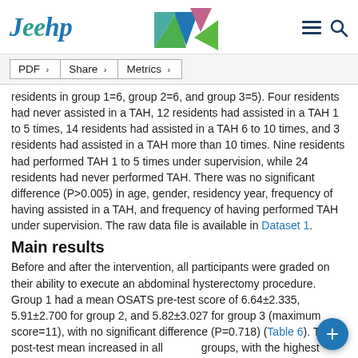Jeehp
residents in group 1=6, group 2=6, and group 3=5). Four residents had never assisted in a TAH, 12 residents had assisted in a TAH 1 to 5 times, 14 residents had assisted in a TAH 6 to 10 times, and 3 residents had assisted in a TAH more than 10 times. Nine residents had performed TAH 1 to 5 times under supervision, while 24 residents had never performed TAH. There was no significant difference (P>0.005) in age, gender, residency year, frequency of having assisted in a TAH, and frequency of having performed TAH under supervision. The raw data file is available in Dataset 1.
Main results
Before and after the intervention, all participants were graded on their ability to execute an abdominal hysterectomy procedure. Group 1 had a mean OSATS pre-test score of 6.64±2.335, 5.91±2.700 for group 2, and 5.82±3.027 for group 3 (maximum score=11), with no significant difference (P=0.718) (Table 6). The post-test mean increased in all groups, with the highest score in group 3 (group 1: 9.18±2.359, group